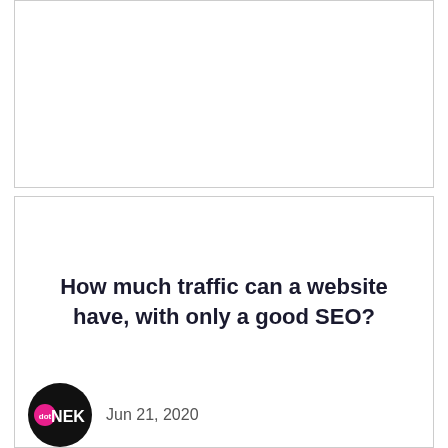[Figure (other): Top card placeholder image area — white/blank rectangle with border]
[Figure (other): Second card large placeholder image area — white/blank rectangle with border]
How much traffic can a website have, with only a good SEO?
[Figure (logo): dotNEK circular logo — black circle with pink dot and white NEK text]
Jun 21, 2020